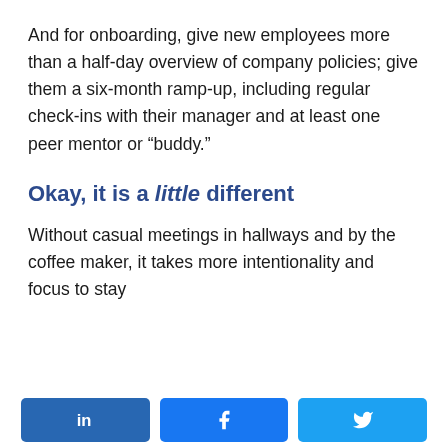And for onboarding, give new employees more than a half-day overview of company policies; give them a six-month ramp-up, including regular check-ins with their manager and at least one peer mentor or “buddy.”
Okay, it is a little different
Without casual meetings in hallways and by the coffee maker, it takes more intentionality and focus to stay